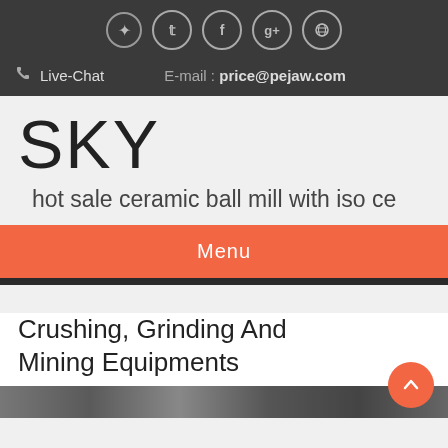[Figure (other): Social media icons row: Twitter, Facebook, Google+, Dribbble — white circles with icons on dark background]
Live-Chat    E-mail : price@pejaw.com
SKY
hot sale ceramic ball mill with iso ce
Menu
Crushing, Grinding And Mining Equipments
[Figure (photo): Industrial mining/grinding equipment photograph, partially visible at bottom of page]